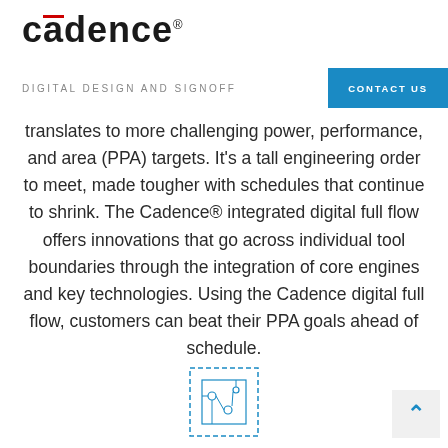[Figure (logo): Cadence logo with red overline accent on letter 'a' and registered trademark symbol]
DIGITAL DESIGN AND SIGNOFF
translates to more challenging power, performance, and area (PPA) targets. It's a tall engineering order to meet, made tougher with schedules that continue to shrink. The Cadence® integrated digital full flow offers innovations that go across individual tool boundaries through the integration of core engines and key technologies. Using the Cadence digital full flow, customers can beat their PPA goals ahead of schedule.
[Figure (illustration): Dashed-border icon showing a circuit board or chip schematic with small geometric shapes inside, rendered in blue/teal lines]
[Figure (other): Back to top button with upward chevron arrow in blue on light gray background]